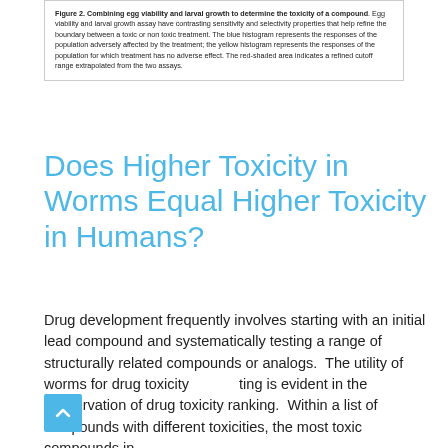Figure 2. Combining egg viability and larval growth to determine the toxicity of a compound. Egg viability and larval growth assay have contrasting sensitivity and selectivity properties that help refine the boundary between a toxic or non toxic treatment. The blue histogram represents the responses of the population adversely affected by the treatment; the yellow histogram represents the responses of the population for which treatment has no adverse effect. The red-shaded area indicates a refined cutoff range extrapolated from the two assays.
Does Higher Toxicity in Worms Equal Higher Toxicity in Humans?
Drug development frequently involves starting with an initial lead compound and systematically testing a range of structurally related compounds or analogs.  The utility of worms for drug toxicity testing is evident in the conservation of drug toxicity ranking.  Within a list of compounds with different toxicities, the most toxic compounds in